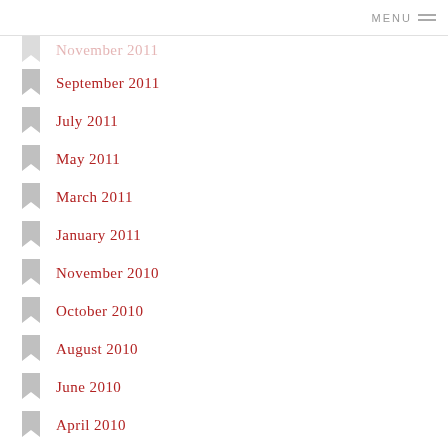MENU
November 2011 (truncated/partial)
September 2011
July 2011
May 2011
March 2011
January 2011
November 2010
October 2010
August 2010
June 2010
April 2010
February 2010
December 2009